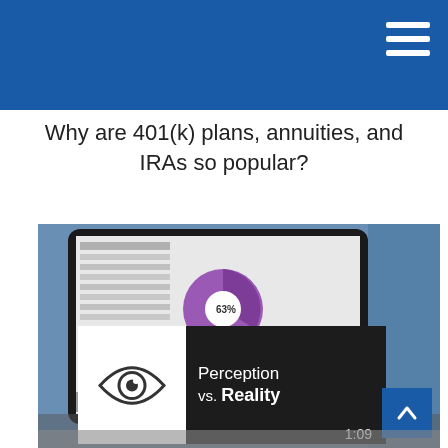WHY OFTEN-OVERLOOKED GROWTH
Why are 401(k) plans, annuities, and IRAs so popular?
[Figure (photo): Person holding a tablet showing financial charts with a pie chart labeled '63%' and text 'Social Security as', overlaid with a white card showing an eye icon and the text 'Perception vs. Reality'. A blue back-to-top button is visible in the bottom-right corner. Video duration '1:09' is shown at the bottom right.]